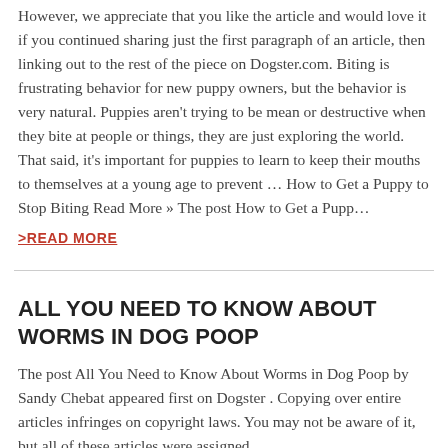However, we appreciate that you like the article and would love it if you continued sharing just the first paragraph of an article, then linking out to the rest of the piece on Dogster.com. Biting is frustrating behavior for new puppy owners, but the behavior is very natural. Puppies aren't trying to be mean or destructive when they bite at people or things, they are just exploring the world. That said, it's important for puppies to learn to keep their mouths to themselves at a young age to prevent ... How to Get a Puppy to Stop Biting Read More » The post How to Get a Pupp...
>READ MORE
ALL YOU NEED TO KNOW ABOUT WORMS IN DOG POOP
The post All You Need to Know About Worms in Dog Poop by Sandy Chebat appeared first on Dogster . Copying over entire articles infringes on copyright laws. You may not be aware of it, but all of these articles were assigned,